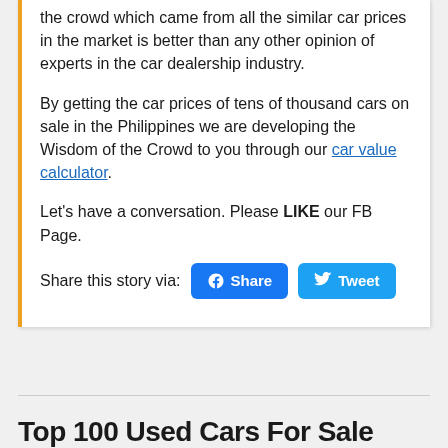the crowd which came from all the similar car prices in the market is better than any other opinion of experts in the car dealership industry.
By getting the car prices of tens of thousand cars on sale in the Philippines we are developing the Wisdom of the Crowd to you through our car value calculator.
Let's have a conversation. Please LIKE our FB Page.
Share this story via: [Share] [Tweet]